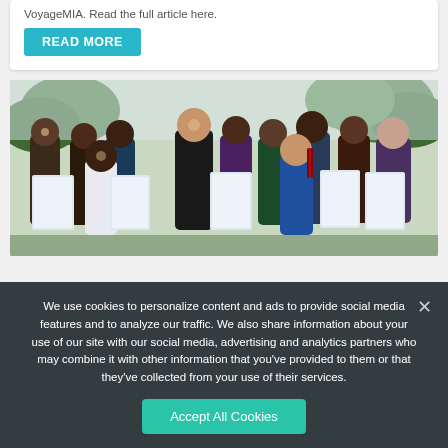VoyageMIA. Read the full article here.
READ MORE
[Figure (photo): Group photo of students holding certificates/diplomas outdoors with palm trees in the background. A man in a black jacket stands among them. Students are smiling and dressed formally.]
We use cookies to personalize content and ads to provide social media features and to analyze our traffic. We also share information about your use of our site with our social media, advertising and analytics partners who may combine it with other information that you've provided to them or that they've collected from your use of their services.
Accept All Cookies